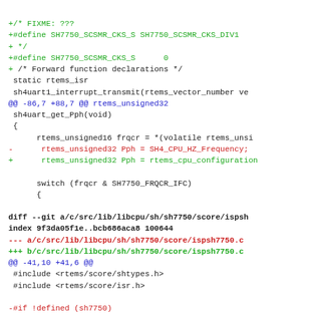+/* FIXME: ???
+#define SH7750_SCSMR_CKS_S SH7750_SCSMR_CKS_DIV1
+ */
+#define SH7750_SCSMR_CKS_S      0
+
 /* Forward function declarations */
 static rtems_isr
 sh4uart1_interrupt_transmit(rtems_vector_number ve
@@ -86,7 +88,7 @@ rtems_unsigned32
 sh4uart_get_Pph(void)
 {
       rtems_unsigned16 frqcr = *(volatile rtems_unsi
-      rtems_unsigned32 Pph = SH4_CPU_HZ_Frequency;
+      rtems_unsigned32 Pph = rtems_cpu_configuration

       switch (frqcr & SH7750_FRQCR_IFC)
       {

diff --git a/c/src/lib/libcpu/sh/sh7750/score/ispsh
index 9f3da05f1e..bcb686aca8 100644
--- a/c/src/lib/libcpu/sh/sh7750/score/ispsh7750.c
+++ b/c/src/lib/libcpu/sh/sh7750/score/ispsh7750.c
@@ -41,10 +41,6 @@
 #include <rtems/score/shtypes.h>
 #include <rtems/score/isr.h>

-#if !defined (sh7750)
-#error Wrong CPU MODEL
-#endif